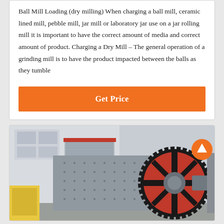Ball Mill Loading (dry milling) When charging a ball mill, ceramic lined mill, pebble mill, jar mill or laboratory jar use on a jar rolling mill it is important to have the correct amount of media and correct amount of product. Charging a Dry Mill – The general operation of a grinding mill is to have the product impacted between the balls as they tumble
[Figure (other): Orange 'Get Price' button]
[Figure (photo): Photo of a large industrial ball mill with a prominent red gear wheel/sprocket on the right side and a cylindrical grey drum body with bolt holes, set in front of a building with white walls and a garage door.]